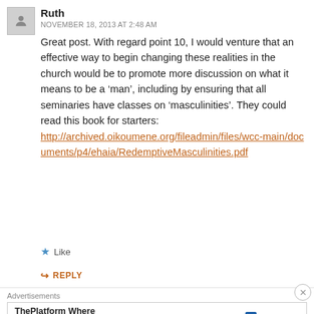Ruth
NOVEMBER 18, 2013 AT 2:48 AM
Great post. With regard point 10, I would venture that an effective way to begin changing these realities in the church would be to promote more discussion on what it means to be a ‘man’, including by ensuring that all seminaries have classes on ‘masculinities’. They could read this book for starters: http://archived.oikoumene.org/fileadmin/files/wcc-main/documents/p4/ehaia/RedemptiveMasculinities.pdf
Like
REPLY
Advertisements
ThePlatform Where WordPress Works Best — Pressable